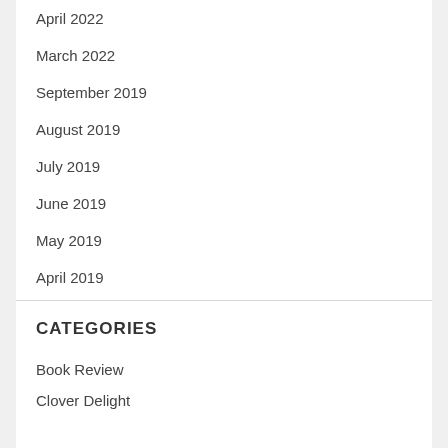April 2022
March 2022
September 2019
August 2019
July 2019
June 2019
May 2019
April 2019
CATEGORIES
Book Review
Clover Delight